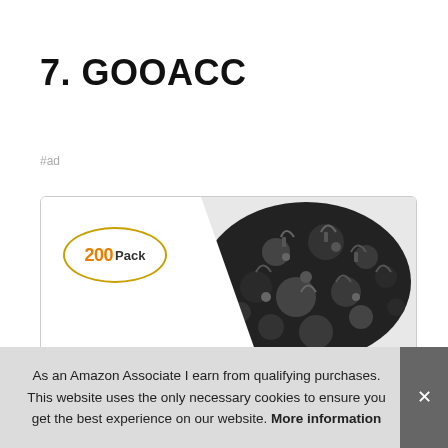7. GOOACC
#ad
[Figure (photo): Product listing card showing a bag of 200 black plastic push-pin retainer clips, with a '200 Pack' badge on the left and a pile of black clips filling the right side of the image. Black clip silhouettes visible at the bottom.]
As an Amazon Associate I earn from qualifying purchases. This website uses the only necessary cookies to ensure you get the best experience on our website. More information